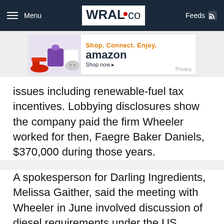Menu | WRAL.com | Feeds
[Figure (screenshot): Amazon advertisement banner: Shop. Connect. Enjoy. amazon Shop now. Privacy.]
issues including renewable-fuel tax incentives. Lobbying disclosures show the company paid the firm Wheeler worked for then, Faegre Baker Daniels, $370,000 during those years.
A spokesperson for Darling Ingredients, Melissa Gaither, said the meeting with Wheeler in June involved discussion of diesel requirements under the US